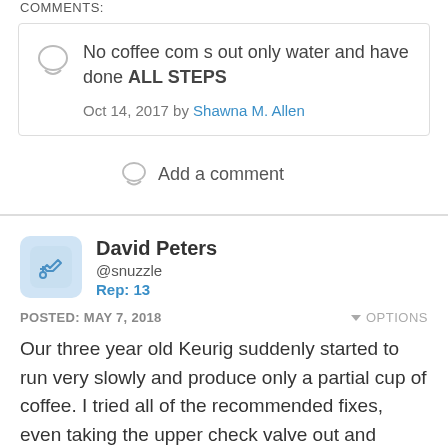COMMENTS:
No coffee com s out only water and have done ALL STEPS
Oct 14, 2017 by Shawna M. Allen
Add a comment
David Peters
@snuzzle
Rep: 13
POSTED: MAY 7, 2018
OPTIONS
Our three year old Keurig suddenly started to run very slowly and produce only a partial cup of coffee. I tried all of the recommended fixes, even taking the upper check valve out and soaking it in vinegar. Cleaned all the